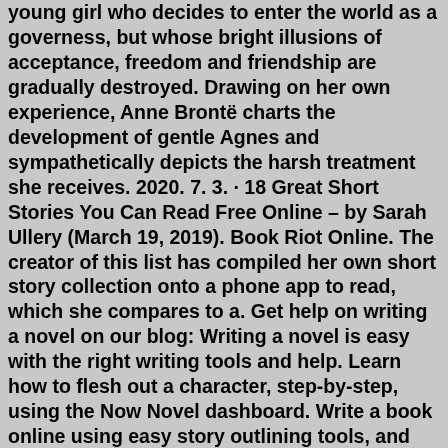young girl who decides to enter the world as a governess, but whose bright illusions of acceptance, freedom and friendship are gradually destroyed. Drawing on her own experience, Anne Brontë charts the development of gentle Agnes and sympathetically depicts the harsh treatment she receives. 2020. 7. 3. · 18 Great Short Stories You Can Read Free Online – by Sarah Ullery (March 19, 2019). Book Riot Online. The creator of this list has compiled her own short story collection onto a phone app to read, which she compares to a. Get help on writing a novel on our blog: Writing a novel is easy with the right writing tools and help. Learn how to flesh out a character, step-by-step, using the Now Novel dashboard. Write a book online using easy story outlining tools, and get critiques and personal support from a community of book writers or your own writing coach while you. 2022. 8. 9. · Skinny creampie porn: 10,000 free sex videos @ pornSOS. Skinny girl Alice March takes big dick. 8 min Team Skeet - 92.7k Views -. 1080p. Bbw fucking skinny teens. Aug 03, 2022 · Babe with big tits